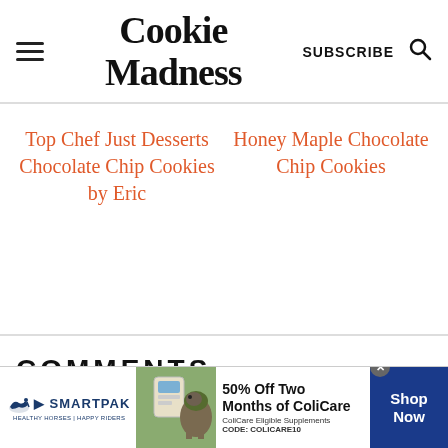Cookie Madness
Top Chef Just Desserts Chocolate Chip Cookies by Eric
Honey Maple Chocolate Chip Cookies
COMMENTS
[Figure (infographic): SmartPak advertisement banner: SmartPak logo with horse icon on left, product image and horse photo in center, text '50% Off Two Months of ColiCare — ColiCare Eligible Supplements — CODE: COLICARE10', blue 'Shop Now' button on right, close button (x) top right.]